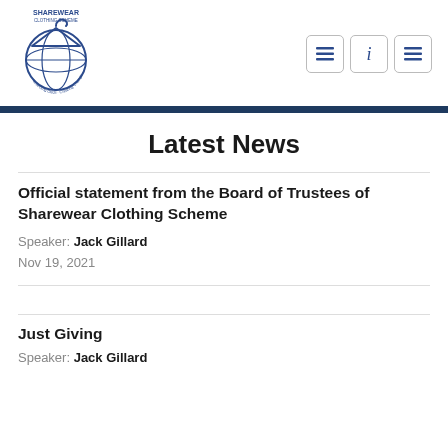[Figure (logo): Sharewear Clothing Scheme logo — circular globe with hanger icon, text 'SHAREWEAR CLOTHING SCHEME' and tagline 'Collecting Odds · Creating Change']
Latest News
Official statement from the Board of Trustees of Sharewear Clothing Scheme
Speaker: Jack Gillard
Nov 19, 2021
Just Giving
Speaker: Jack Gillard